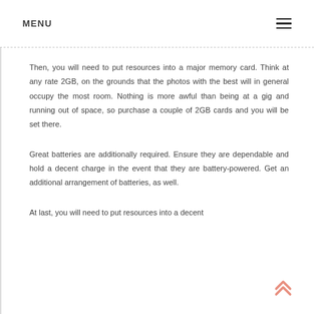MENU
Then, you will need to put resources into a major memory card. Think at any rate 2GB, on the grounds that the photos with the best will in general occupy the most room. Nothing is more awful than being at a gig and running out of space, so purchase a couple of 2GB cards and you will be set there.
Great batteries are additionally required. Ensure they are dependable and hold a decent charge in the event that they are battery-powered. Get an additional arrangement of batteries, as well.
At last, you will need to put resources into a decent